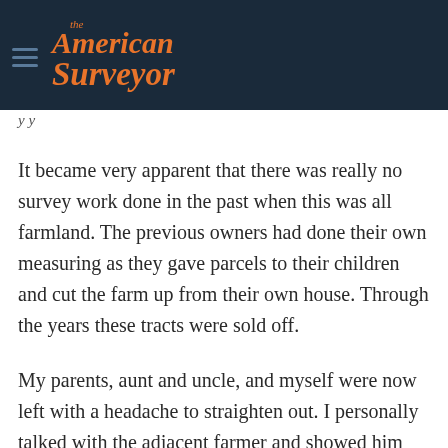the American Surveyor
y y
It became very apparent that there was really no survey work done in the past when this was all farmland. The previous owners had done their own measuring as they gave parcels to their children and cut the farm up from their own house. Through the years these tracts were sold off.
My parents, aunt and uncle, and myself were now left with a headache to straighten out. I personally talked with the adjacent farmer and showed him drawings as to what had happened. He told me that what he farmed was what he had bought and he didn't want any of my parents' or aunt and